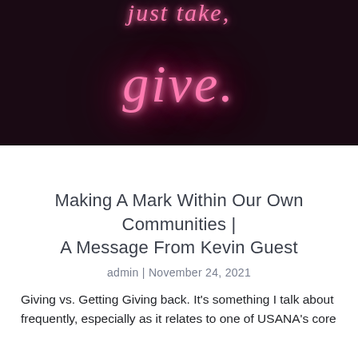[Figure (photo): Neon sign on dark background showing italic text 'just take, give.' in pink/magenta neon lights]
Making A Mark Within Our Own Communities | A Message From Kevin Guest
admin | November 24, 2021
Giving vs. Getting Giving back. It's something I talk about frequently, especially as it relates to one of USANA's core